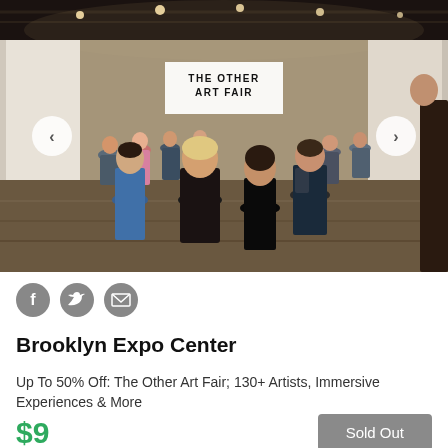[Figure (photo): Interior of Brooklyn Expo Center during The Other Art Fair. A large warehouse-style space with industrial ceiling, white gallery walls/booths, and a crowd of visitors walking through. A banner reading 'The Other Art Fair' is visible in the background. Navigation arrows on left and right sides of the image.]
[Figure (infographic): Three circular social sharing icons: Facebook (f), Twitter (bird), and Email (envelope), in gray.]
Brooklyn Expo Center
Up To 50% Off: The Other Art Fair; 130+ Artists, Immersive Experiences & More
$9
Sold Out